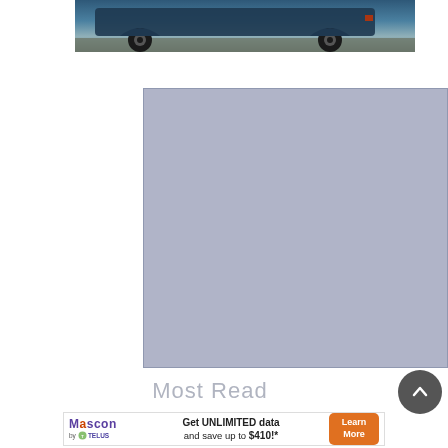[Figure (photo): Partial view of a dark blue SUV/crossover vehicle from the side/rear, low angle shot on a field background]
[Figure (other): Gray/blue-gray rectangular advertisement placeholder block]
Most Read
[Figure (other): Mascon by TELUS advertisement banner: Get UNLIMITED data and save up to $410!* with Learn More button]